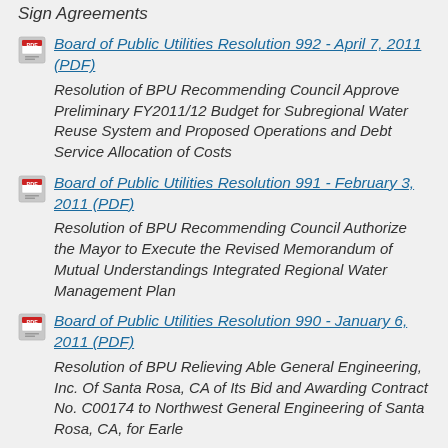Sign Agreements
Board of Public Utilities Resolution 992 - April 7, 2011 (PDF)
Resolution of BPU Recommending Council Approve Preliminary FY2011/12 Budget for Subregional Water Reuse System and Proposed Operations and Debt Service Allocation of Costs
Board of Public Utilities Resolution 991 - February 3, 2011 (PDF)
Resolution of BPU Recommending Council Authorize the Mayor to Execute the Revised Memorandum of Mutual Understandings Integrated Regional Water Management Plan
Board of Public Utilities Resolution 990 - January 6, 2011 (PDF)
Resolution of BPU Relieving Able General Engineering, Inc. Of Santa Rosa, CA of Its Bid and Awarding Contract No. C00174 to Northwest General Engineering of Santa Rosa, CA, for Earle